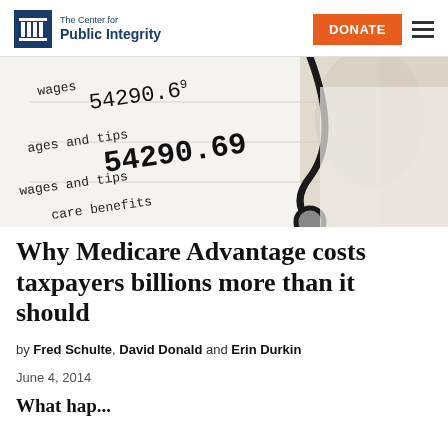The Center for Public Integrity
[Figure (photo): Close-up of a tax form showing wages and tips 54290.69 with a stethoscope held by a person in a white coat in the background]
Why Medicare Advantage costs taxpayers billions more than it should
by Fred Schulte, David Donald and Erin Durkin
June 4, 2014